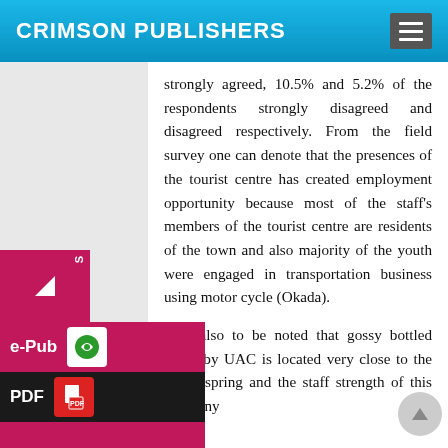CRIMSON PUBLISHERS
strongly agreed, 10.5% and 5.2% of the respondents strongly disagreed and disagreed respectively. From the field survey one can denote that the presences of the tourist centre has created employment opportunity because most of the staff's members of the tourist centre are residents of the town and also majority of the youth were engaged in transportation business using motor cycle (Okada).
It is also to be noted that gossy bottled water by UAC is located very close to the warm spring and the staff strength of this company